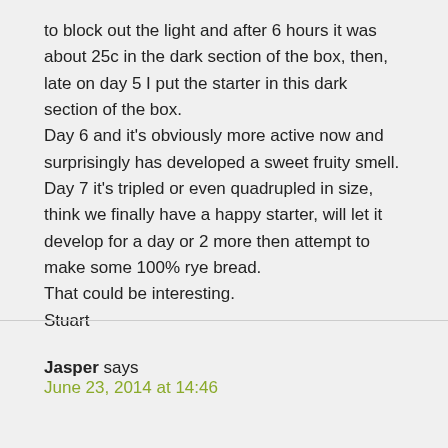(Presto) lamp into a cardboard box with a blanket to block out the light and after 6 hours it was about 25c in the dark section of the box, then, late on day 5 I put the starter in this dark section of the box.
Day 6 and it's obviously more active now and surprisingly has developed a sweet fruity smell.
Day 7 it's tripled or even quadrupled in size, think we finally have a happy starter, will let it develop for a day or 2 more then attempt to make some 100% rye bread.
That could be interesting.
Stuart
Jasper says
June 23, 2014 at 14:46